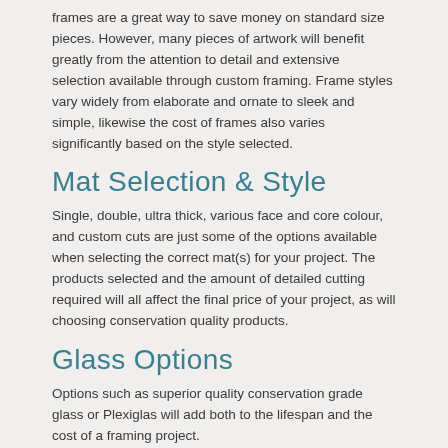frames are a great way to save money on standard size pieces. However, many pieces of artwork will benefit greatly from the attention to detail and extensive selection available through custom framing. Frame styles vary widely from elaborate and ornate to sleek and simple, likewise the cost of frames also varies significantly based on the style selected.
Mat Selection & Style
Single, double, ultra thick, various face and core colour, and custom cuts are just some of the options available when selecting the correct mat(s) for your project. The products selected and the amount of detailed cutting required will all affect the final price of your project, as will choosing conservation quality products.
Glass Options
Options such as superior quality conservation grade glass or Plexiglas will add both to the lifespan and the cost of a framing project.